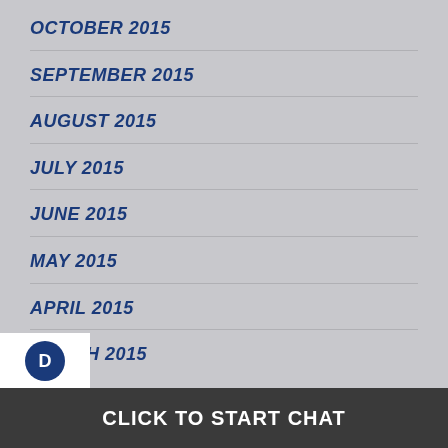OCTOBER 2015
SEPTEMBER 2015
AUGUST 2015
JULY 2015
JUNE 2015
MAY 2015
APRIL 2015
MARCH 2015
CLICK TO START CHAT